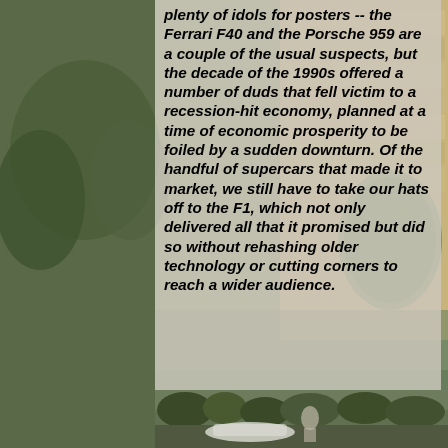[Figure (photo): Outdoor background photo showing a stone bridge with arched spans over a river, with green trees and water visible. A semi-transparent grey/beige overlay panel sits over the centre-right of the image containing article text.]
plenty of idols for posters -- the Ferrari F40 and the Porsche 959 are a couple of the usual suspects, but the decade of the 1990s offered a number of duds that fell victim to a recession-hit economy, planned at a time of economic prosperity to be foiled by a sudden downturn. Of the handful of supercars that made it to market, we still have to take our hats off to the F1, which not only delivered all that it promised but did so without rehashing older technology or cutting corners to reach a wider audience.
[Figure (photo): Partial photo at bottom of page showing what appears to be a car and a person outdoors with trees in the background.]